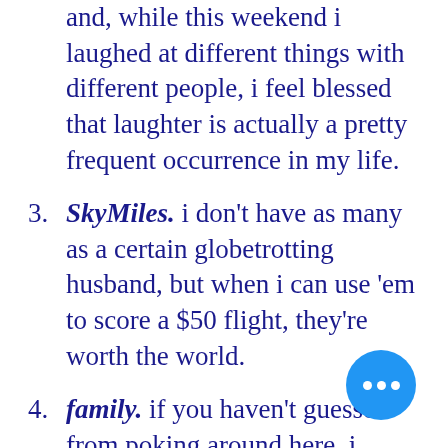and, while this weekend i laughed at different things with different people, i feel blessed that laughter is actually a pretty frequent occurrence in my life.
SkyMiles. i don't have as many as a certain globetrotting husband, but when i can use 'em to score a $50 flight, they're worth the world.
family. if you haven't guessed from poking around here, i absolutely love mine. they make me laugh, keep me sane and make my heart so full it might burst on mo... days.